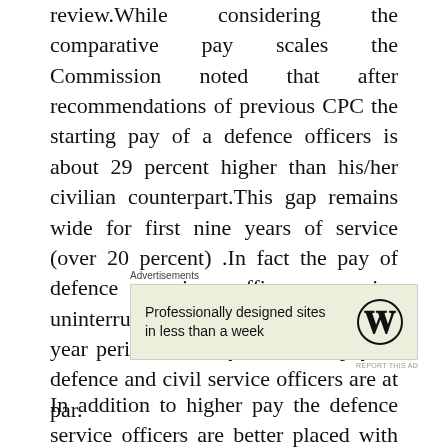review.While considering the comparative pay scales the Commission noted that after recommendations of previous CPC the starting pay of a defence officers is about 29 percent higher than his/her civilian counterpart.This gap remains wide for first nine years of service (over 20 percent) .In fact the pay of defence service officers remains uninterruptedly higher for a thirty-two year period and only thereafter pay of defence and civil service officers are at par.
[Figure (other): Advertisement box with text 'Professionally designed sites in less than a week' and WordPress logo (circled W)]
In addition to higher pay the defence service officers are better placed with benefits like